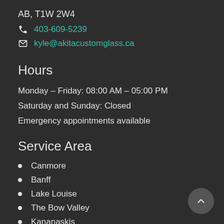AB, T1W 2W4
403-609-5239
kyle@akitacustomglass.ca
Hours
Monday – Friday: 08:00 AM – 05:00 PM
Saturday and Sunday: Closed
Emergency appointments available
Service Area
Canmore
Banff
Lake Louise
The Bow Valley
Kananaskis
Bragg Creek